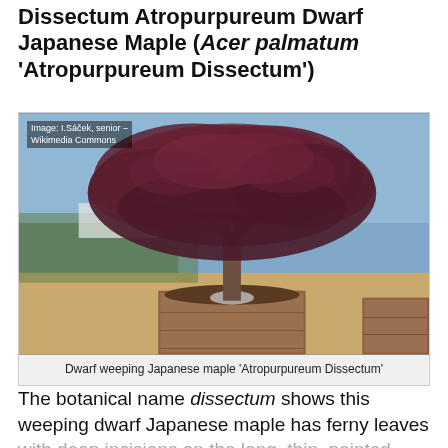Dissectum Atropurpureum Dwarf Japanese Maple (Acer palmatum 'Atropurpureum Dissectum')
[Figure (photo): Dwarf weeping Japanese maple 'Atropurpureum Dissectum' — a large spreading tree with deep red-purple ferny foliage growing in a large square wooden planter box outdoors. Image credit: I.Sáček, senior – Wikimedia Commons.]
Dwarf weeping Japanese maple 'Atropurpureum Dissectum'
The botanical name dissectum shows this weeping dwarf Japanese maple has ferny leaves with deep incisions on the long, thin, pointed lobes. The outstanding feature of the